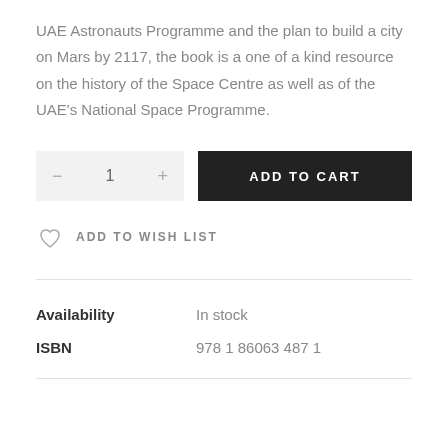UAE Astronauts Programme and the plan to build a city on Mars by 2117, the book is a one of a kind resource on the history of the Space Centre as well as of the UAE's National Space Programme.
| Availability | In stock |
| --- | --- |
| ISBN | 978 1 86063 487 1 |